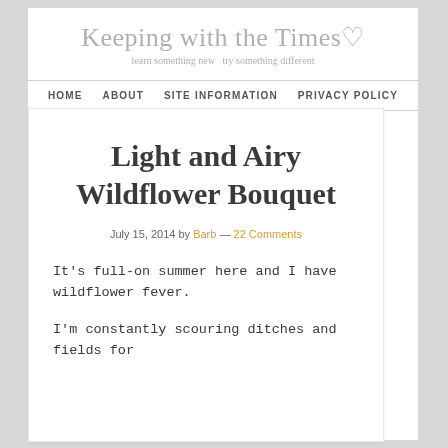Keeping with the Times♡
learn something new  try something different
HOME   ABOUT   SITE INFORMATION   PRIVACY POLICY
Light and Airy Wildflower Bouquet
July 15, 2014 by Barb — 22 Comments
It's full-on summer here and I have wildflower fever.
I'm constantly scouring ditches and fields for